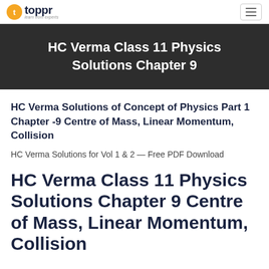toppr — learn from experts
HC Verma Class 11 Physics Solutions Chapter 9
HC Verma Solutions of Concept of Physics Part 1 Chapter -9 Centre of Mass, Linear Momentum, Collision
HC Verma Solutions for Vol 1 & 2 — Free PDF Download
HC Verma Class 11 Physics Solutions Chapter 9 Centre of Mass, Linear Momentum, Collision